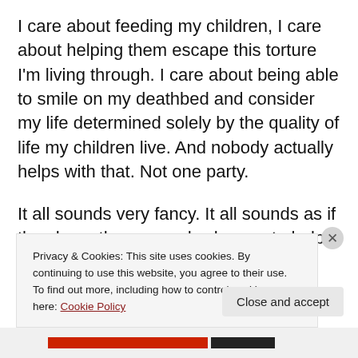I care about feeding my children, I care about helping them escape this torture I'm living through. I care about being able to smile on my deathbed and consider my life determined solely by the quality of life my children live. And nobody actually helps with that. Not one party.
It all sounds very fancy. It all sounds as if they have these grand schemes to help us, but that's all they are: schemes. I don't vote because even though I now have an Aadhar Card. Even though my daughters are educated and smart and talk of how important it is to vote. I'm jaded
Privacy & Cookies: This site uses cookies. By continuing to use this website, you agree to their use.
To find out more, including how to control cookies, see here: Cookie Policy